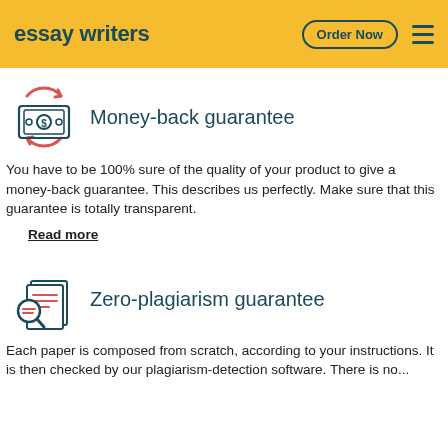essay writers | Order Now
[Figure (illustration): Money-back guarantee icon: red circular arrows around a dollar bill/cash register icon]
Money-back guarantee
You have to be 100% sure of the quality of your product to give a money-back guarantee. This describes us perfectly. Make sure that this guarantee is totally transparent.
Read more
[Figure (illustration): Zero-plagiarism guarantee icon: magnifying glass over stacked document pages with lines]
Zero-plagiarism guarantee
Each paper is composed from scratch, according to your instructions. It is then checked by our plagiarism-detection software. There is no...